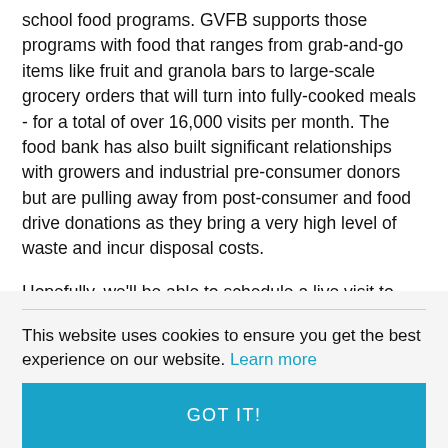school food programs.  GVFB supports those programs with food that ranges from grab-and-go items like fruit and granola bars to large-scale grocery orders that will turn into fully-cooked meals - for a total of over 16,000 visits per month.  The food bank has also built significant relationships with growers and industrial pre-consumer donors but are pulling away from post-consumer and food drive donations as they bring a very high level of waste and incur disposal costs.
Hopefully, we'll be able to schedule a live visit to GVFB's new Terminal Avenue operation in the fall.  In the meantime, for more information about the food bank or to
This website uses cookies to ensure you get the best experience on our website. Learn more
GOT IT!